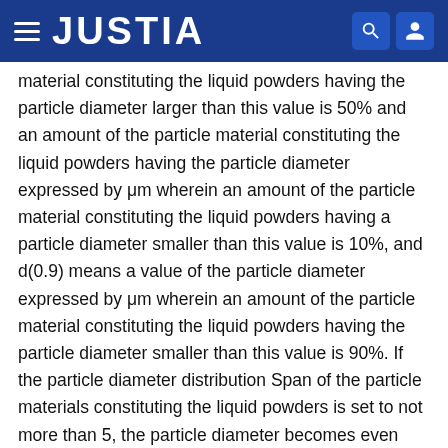JUSTIA
material constituting the liquid powders having the particle diameter larger than this value is 50% and an amount of the particle material constituting the liquid powders having the particle diameter expressed by μm wherein an amount of the particle material constituting the liquid powders having a particle diameter smaller than this value is 10%, and d(0.9) means a value of the particle diameter expressed by μm wherein an amount of the particle material constituting the liquid powders having the particle diameter smaller than this value is 90%. If the particle diameter distribution Span of the particle materials constituting the liquid powders is set to not more than 5, the particle diameter becomes even and it is possible to perform an even liquid powders movement.
Here, the particle diameter distribution and the particle